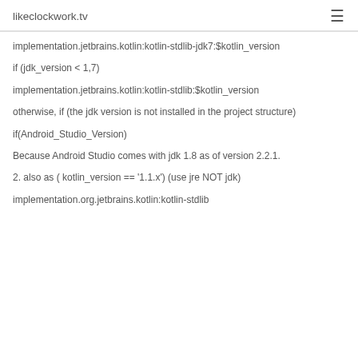likeclockwork.tv
implementation.jetbrains.kotlin:kotlin-stdlib-jdk7:$kotlin_version
if (jdk_version < 1,7)
implementation.jetbrains.kotlin:kotlin-stdlib:$kotlin_version
otherwise, if (the jdk version is not installed in the project structure)
if(Android_Studio_Version)
Because Android Studio comes with jdk 1.8 as of version 2.2.1.
2. also as ( kotlin_version == '1.1.x') (use jre NOT jdk)
implementation.org.jetbrains.kotlin:kotlin-stdlib